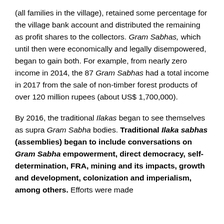(all families in the village), retained some percentage for the village bank account and distributed the remaining as profit shares to the collectors. Gram Sabhas, which until then were economically and legally disempowered, began to gain both. For example, from nearly zero income in 2014, the 87 Gram Sabhas had a total income in 2017 from the sale of non-timber forest products of over 120 million rupees (about US$ 1,700,000).
By 2016, the traditional Ilakas began to see themselves as supra Gram Sabha bodies. Traditional Ilaka sabhas (assemblies) began to include conversations on Gram Sabha empowerment, direct democracy, self-determination, FRA, mining and its impacts, growth and development, colonization and imperialism, among others. Efforts were made